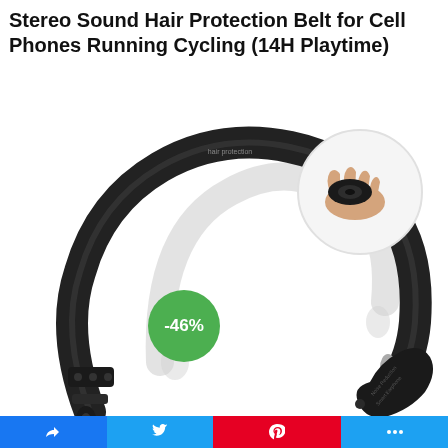Stereo Sound Hair Protection Belt for Cell Phones Running Cycling (14H Playtime)
[Figure (photo): Product photo of a Bluetooth neckband headset (black) shown at an angle with earbuds extending outward. A ghost/shadow image shows retracted position. A circular inset image in upper right shows a hand holding one of the earpiece pods. A green circular badge shows '-46%' discount. A grey scroll-up arrow button is on the right side.]
Social share bar: Facebook, Twitter, Pinterest, More